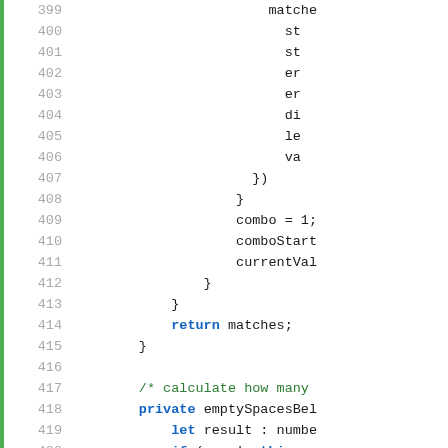[Figure (screenshot): Code editor screenshot showing lines 399-421 of a TypeScript/JavaScript file with line numbers on the left, a green vertical bar, and syntax-highlighted code. Lines show closing braces, combo assignments, return statement, and start of a new private method emptySpacesBel.]